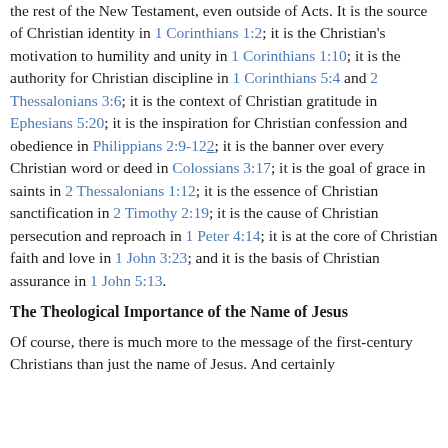the rest of the New Testament, even outside of Acts. It is the source of Christian identity in 1 Corinthians 1:2; it is the Christian's motivation to humility and unity in 1 Corinthians 1:10; it is the authority for Christian discipline in 1 Corinthians 5:4 and 2 Thessalonians 3:6; it is the context of Christian gratitude in Ephesians 5:20; it is the inspiration for Christian confession and obedience in Philippians 2:9-122; it is the banner over every Christian word or deed in Colossians 3:17; it is the goal of grace in saints in 2 Thessalonians 1:12; it is the essence of Christian sanctification in 2 Timothy 2:19; it is the cause of Christian persecution and reproach in 1 Peter 4:14; it is at the core of Christian faith and love in 1 John 3:23; and it is the basis of Christian assurance in 1 John 5:13.
The Theological Importance of the Name of Jesus
Of course, there is much more to the message of the first-century Christians than just the name of Jesus. And certainly